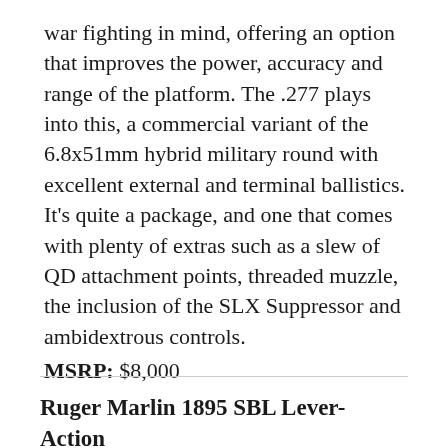war fighting in mind, offering an option that improves the power, accuracy and range of the platform. The .277 plays into this, a commercial variant of the 6.8x51mm hybrid military round with excellent external and terminal ballistics. It's quite a package, and one that comes with plenty of extras such as a slew of QD attachment points, threaded muzzle, the inclusion of the SLX Suppressor and ambidextrous controls.
MSRP: $8,000
Ruger Marlin 1895 SBL Lever-Action